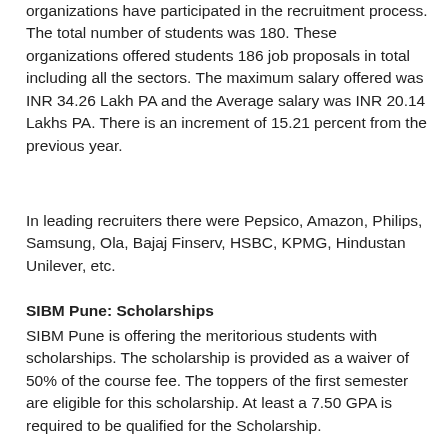organizations have participated in the recruitment process. The total number of students was 180. These organizations offered students 186 job proposals in total including all the sectors. The maximum salary offered was INR 34.26 Lakh PA and the Average salary was INR 20.14 Lakhs PA. There is an increment of 15.21 percent from the previous year.
In leading recruiters there were Pepsico, Amazon, Philips, Samsung, Ola, Bajaj Finserv, HSBC, KPMG, Hindustan Unilever, etc.
SIBM Pune: Scholarships
SIBM Pune is offering the meritorious students with scholarships. The scholarship is provided as a waiver of 50% of the course fee. The toppers of the first semester are eligible for this scholarship. At least a 7.50 GPA is required to be qualified for the Scholarship.
SIBM COURSES
MBA